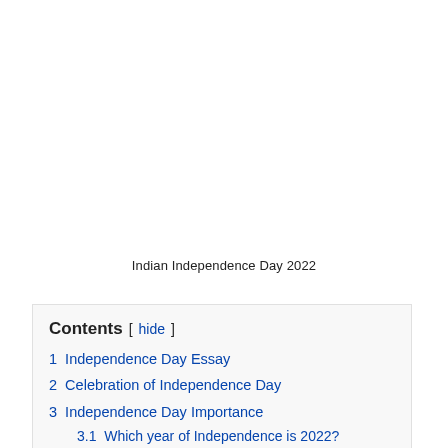Indian Independence Day 2022
Contents
1  Independence Day Essay
2  Celebration of Independence Day
3  Independence Day Importance
3.1  Which year of Independence is 2022?